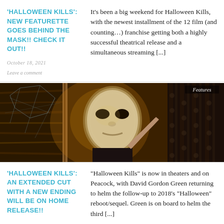'HALLOWEEN KILLS': NEW FEATURETTE GOES BEHIND THE MASK!! CHECK IT OUT!!
October 18, 2021
Leave a comment
It's been a big weekend for Halloween Kills, with the newest installment of the 12 film (and counting...) franchise getting both a highly successful theatrical release and a simultaneous streaming [...]
[Figure (photo): Movie still from Halloween Kills showing Michael Myers mask in a dark, high-contrast scene. A 'Features' label appears in the top right corner.]
'HALLOWEEN KILLS': AN EXTENDED CUT WITH A NEW ENDING WILL BE ON HOME RELEASE!!
“Halloween Kills” is now in theaters and on Peacock, with David Gordon Green returning to helm the follow-up to 2018’s “Halloween” reboot/sequel. Green is on board to helm the third [...]